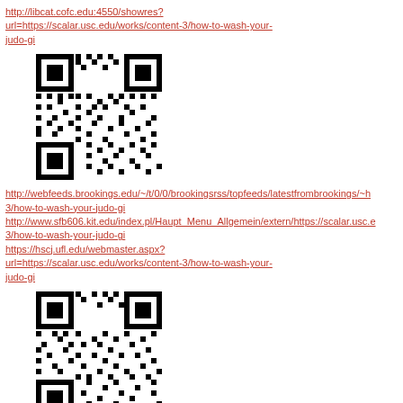http://libcat.cofc.edu:4550/showres?url=https://scalar.usc.edu/works/content-3/how-to-wash-your-judo-gi
[Figure (other): QR code linking to scalar.usc.edu how-to-wash-your-judo-gi page]
http://webfeeds.brookings.edu/~/t/0/0/brookingsrss/topfeeds/latestfrombrookings/~h 3/how-to-wash-your-judo-gi
http://www.sfb606.kit.edu/index.pl/Haupt_Menu_Allgemein/extern/https://scalar.usc.e 3/how-to-wash-your-judo-gi
https://hscj.ufl.edu/webmaster.aspx?url=https://scalar.usc.edu/works/content-3/how-to-wash-your-judo-gi
[Figure (other): QR code linking to scalar.usc.edu how-to-wash-your-judo-gi page (second)]
https://lazaris01.worldsecuresystems.com/Redirect.aspx?destination=https://scalar.usc.edu/works/content-3/how-to-wash-